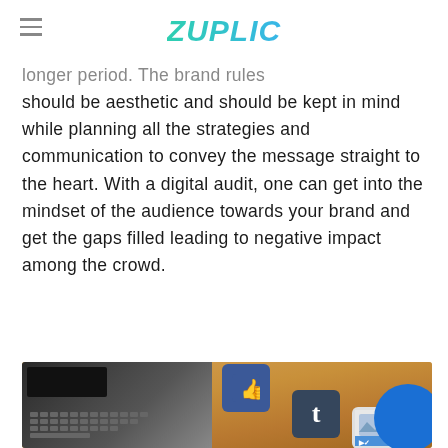ZUPLIC
longer period. The brand rules should be aesthetic and should be kept in mind while planning all the strategies and communication to convey the message straight to the heart. With a digital audit, one can get into the mindset of the audience towards your brand and get the gaps filled leading to negative impact among the crowd.
[Figure (photo): Photo of a laptop with social media icon cubes (Facebook thumbs up, Tumblr, and others) on a wooden surface, with a blue circle overlay in the bottom right.]